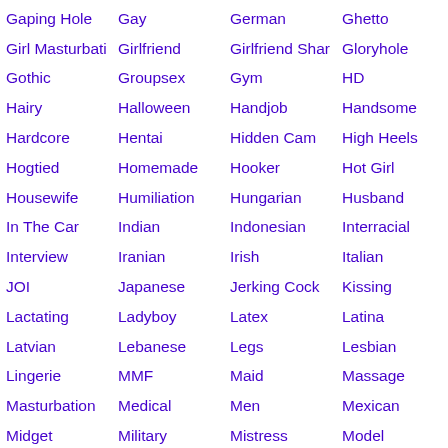Gaping Hole
Gay
German
Ghetto
Girl Masturbati
Girlfriend
Girlfriend Shar
Gloryhole
Gothic
Groupsex
Gym
HD
Hairy
Halloween
Handjob
Handsome
Hardcore
Hentai
Hidden Cam
High Heels
Hogtied
Homemade
Hooker
Hot Girl
Housewife
Humiliation
Hungarian
Husband
In The Car
Indian
Indonesian
Interracial
Interview
Iranian
Irish
Italian
JOI
Japanese
Jerking Cock
Kissing
Lactating
Ladyboy
Latex
Latina
Latvian
Lebanese
Legs
Lesbian
Lingerie
MMF
Maid
Massage
Masturbation
Medical
Men
Mexican
Midget
Military
Mistress
Model
Mom
Mouthful Of Cu
Muscle
Naked